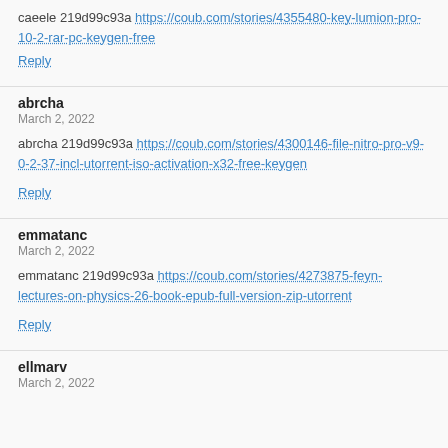caeele 219d99c93a https://coub.com/stories/4355480-key-lumion-pro-10-2-rar-pc-keygen-free
Reply
abrcha
March 2, 2022
abrcha 219d99c93a https://coub.com/stories/4300146-file-nitro-pro-v9-0-2-37-incl-utorrent-iso-activation-x32-free-keygen
Reply
emmatanc
March 2, 2022
emmatanc 219d99c93a https://coub.com/stories/4273875-feyn-lectures-on-physics-26-book-epub-full-version-zip-utorrent
Reply
ellmarv
March 2, 2022